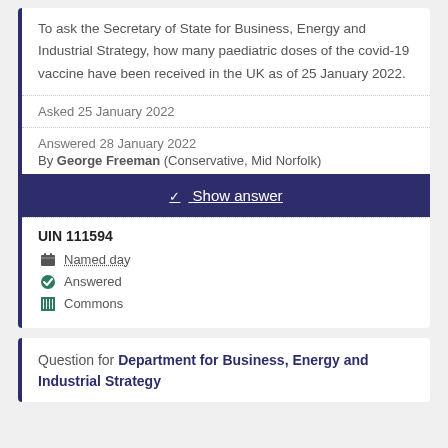To ask the Secretary of State for Business, Energy and Industrial Strategy, how many paediatric doses of the covid-19 vaccine have been received in the UK as of 25 January 2022.
Asked 25 January 2022
Answered 28 January 2022
By George Freeman (Conservative, Mid Norfolk)
Show answer
UIN 111594
Named day
Answered
Commons
Question for Department for Business, Energy and Industrial Strategy